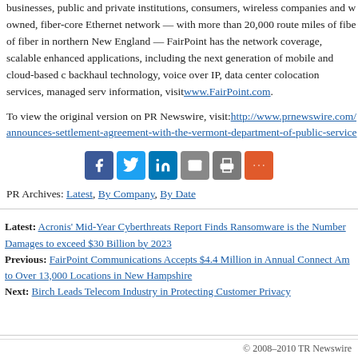businesses, public and private institutions, consumers, wireless companies and w owned, fiber-core Ethernet network — with more than 20,000 route miles of fibe of fiber in northern New England — FairPoint has the network coverage, scalable enhanced applications, including the next generation of mobile and cloud-based c backhaul technology, voice over IP, data center colocation services, managed serv information, visit www.FairPoint.com.
To view the original version on PR Newswire, visit: http://www.prnewswire.com/ announces-settlement-agreement-with-the-vermont-department-of-public-service
[Figure (other): Social sharing icons: Facebook, Twitter, LinkedIn, Email, Print, More]
PR Archives: Latest, By Company, By Date
Latest: Acronis' Mid-Year Cyberthreats Report Finds Ransomware is the Number Damages to exceed $30 Billion by 2023
Previous: FairPoint Communications Accepts $4.4 Million in Annual Connect Am to Over 13,000 Locations in New Hampshire
Next: Birch Leads Telecom Industry in Protecting Customer Privacy
© 2008–2010 TR Newswire